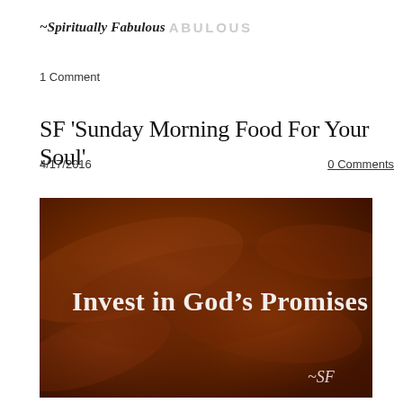~Spiritually Fabulous SPIRITUALLY FABULOUS
1 Comment
SF 'Sunday Morning Food For Your Soul'
4/17/2016   0 Comments
[Figure (photo): Dark reddish-brown swirled background image with white serif text reading 'Invest in God’s Promises' and '~SF' in the bottom right corner]